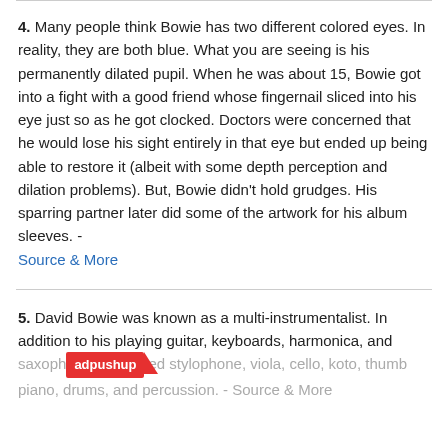4. Many people think Bowie has two different colored eyes. In reality, they are both blue. What you are seeing is his permanently dilated pupil. When he was about 15, Bowie got into a fight with a good friend whose fingernail sliced into his eye just so as he got clocked. Doctors were concerned that he would lose his sight entirely in that eye but ended up being able to restore it (albeit with some depth perception and dilation problems). But, Bowie didn't hold grudges. His sparring partner later did some of the artwork for his album sleeves. - Source & More
5. David Bowie was known as a multi-instrumentalist. In addition to his playing guitar, keyboards, harmonica, and saxophone, he played stylophone, viola, cello, koto, thumb piano, drums, and percussion. - Source & More